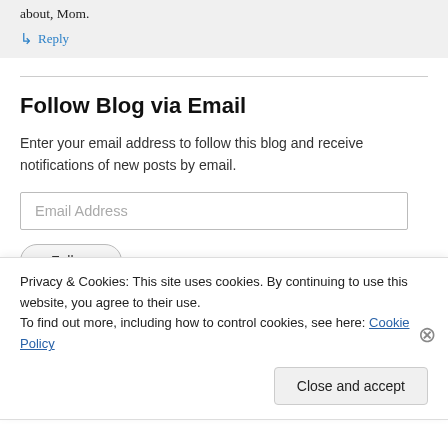about, Mom.
↳ Reply
Follow Blog via Email
Enter your email address to follow this blog and receive notifications of new posts by email.
Email Address
Follow
Privacy & Cookies: This site uses cookies. By continuing to use this website, you agree to their use.
To find out more, including how to control cookies, see here: Cookie Policy
Close and accept